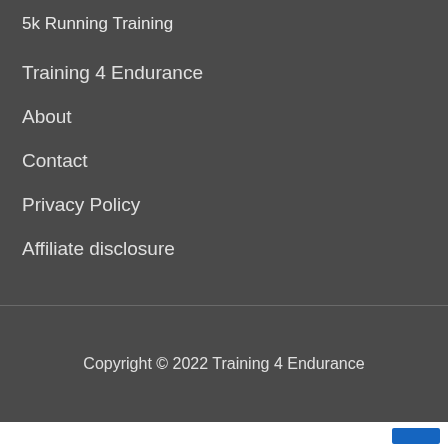5k Running Training
Training 4 Endurance
About
Contact
Privacy Policy
Affiliate disclosure
Copyright © 2022 Training 4 Endurance
[Figure (illustration): Blue button element in top right and a hexagonal geometric pattern image at the bottom of the page]